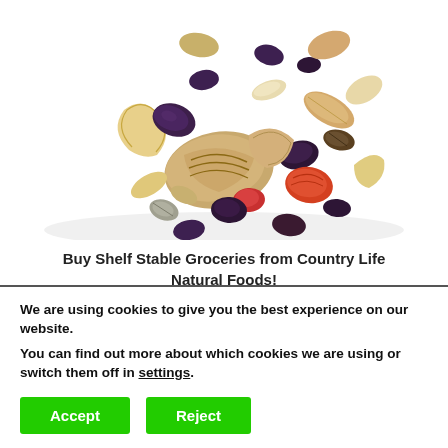[Figure (photo): A pile of mixed nuts and dried fruits (trail mix) including cashews, walnuts, raisins, almonds, and other nuts/dried fruits on a white background.]
Buy Shelf Stable Groceries from Country Life Natural Foods!
This site earns income from advertising and affiliate sales. The Self Sufficient HomeAcre is a
We are using cookies to give you the best experience on our website.
You can find out more about which cookies we are using or switch them off in settings.